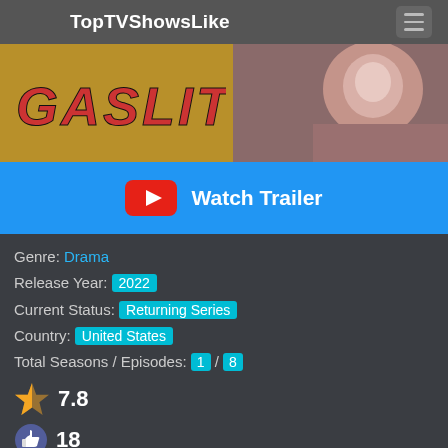TopTVShowsLike
[Figure (screenshot): TV show banner image for Gaslit, with orange/gold background and text GASLIT on left, scene photo on right]
[Figure (other): Watch Trailer button with YouTube icon on blue background]
Genre: Drama
Release Year: 2022
Current Status: Returning Series
Country: United States
Total Seasons / Episodes: 1 / 8
7.8
18
Watch Now
Top
0 SHARES
0 SHARES | Facebook | Twitter | Pinterest | WhatsApp | Reddit | More